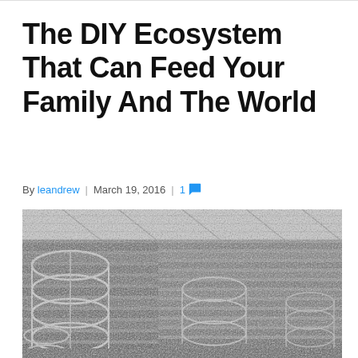The DIY Ecosystem That Can Feed Your Family And The World
By leandrew | March 19, 2016 | 1
[Figure (photo): Black and white photograph of a large indoor vertical farming greenhouse with cylindrical rotating plant towers and tiered shelving filled with green plants, viewed from inside under a glass roof.]